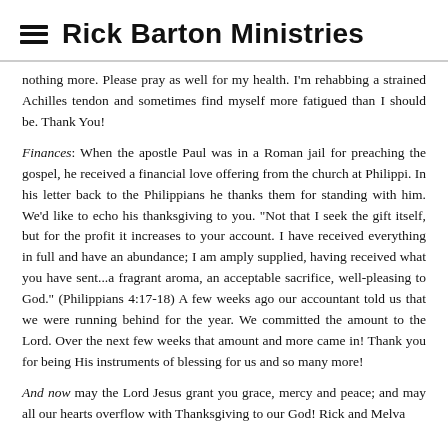Rick Barton Ministries
nothing more.  Please pray as well for my health.  I'm rehabbing a strained Achilles tendon and sometimes find myself more fatigued than I should be. Thank You!
Finances: When the apostle Paul was in a Roman jail for preaching the gospel, he received a financial love offering from the church at Philippi.  In his letter back to the Philippians he thanks them for standing with him.  We'd like to echo his thanksgiving to you.  "Not that I seek the gift itself, but for the profit it increases to your account.  I have received everything in full and have an abundance; I am amply supplied, having received what you have sent...a fragrant aroma, an acceptable sacrifice, well-pleasing to God." (Philippians 4:17-18)   A few weeks ago our accountant told us that we were running behind for the year.  We committed the amount to the Lord.  Over the next few weeks that amount and more came in!  Thank you for being His instruments of blessing for us and so many more!
And now may the Lord Jesus grant you grace, mercy and peace; and may all our hearts overflow with Thanksgiving to our God!  Rick and Melva